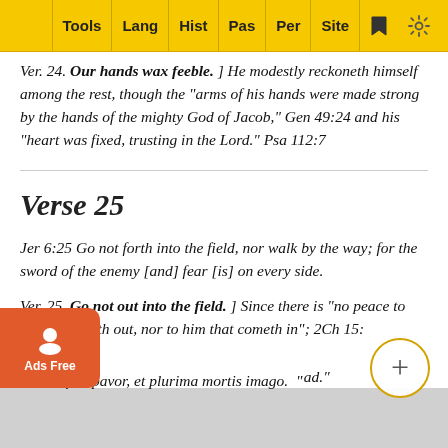Tools | Lang | Hist | Pas | Per | Site
Ver. 24. Our hands wax feeble. ] He modestly reckoneth himself among the rest, though the "arms of his hands were made strong by the hands of the mighty God of Jacob," Gen 49:24 and his "heart was fixed, trusting in the Lord." Psa 112:7
Verse 25
Jer 6:25 Go not forth into the field, nor walk by the way; for the sword of the enemy [and] fear [is] on every side.
Ver. 25. Go not out into the field. ] Since there is "no peace to him that goeth out, nor to him that cometh in"; 2Ch 15: ...tus ubique, pavor, et plurima mortis imago. "
"Ever ... ad."